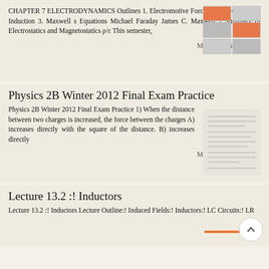CHAPTER 7 ELECTRODYNAMICS Outlines 1. Electromotive Force 2. Electromagnetic Induction 3. Maxwell s Equations Michael Faraday James C. Maxwell 2 Summary of Electrostatics and Magnetostatics ρ/ε This semester,
[Figure (other): Thumbnail grid of 6 document page previews arranged in 2 columns and 3 rows]
More information →
Physics 2B Winter 2012 Final Exam Practice
Physics 2B Winter 2012 Final Exam Practice 1) When the distance between two charges is increased, the force between the charges A) increases directly with the square of the distance. B) increases directly
[Figure (other): Thumbnail of a document page showing exam text]
More information →
Lecture 13.2 :! Inductors
Lecture 13.2 :! Inductors Lecture Outline:! Induced Fields:! Inductors:! LC Circuits:! LR